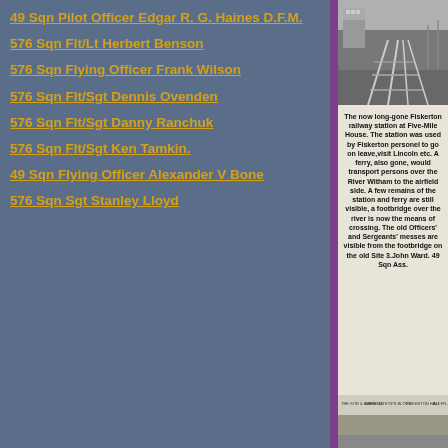49 Sqn Pilot Officer Edgar R. G. Haines D.F.M.
576 Sqn Flt/Lt Herbert Benson
576 Sqn Flying Officer Frank Wilson
576 Sqn Flt/Sgt Dennis Ovenden
576 Sqn Flt/Sgt Danny Ranchuk
576 Sqn Flt/Sgt Ken Tamkin.
49 Sqn Flying Officer Alexander V Bone
576 Sqn Sgt Stanley Lloyd
[Figure (photo): Black and white photo of Fiskerton railway station at Five-Mile House, showing railway tracks and signal box building]
The now long-gone Fiskerton railway station at Five-Mile House. The station was used by Fiskerton personel to go on leave,visit Lincoln etc. A ferry, also gone, would transport persons over the River Witham to the airfield side. A few remains of the station and ferry are still visible, a footbridge over the river is now the means of crossing. The old Officers' and Sergeants' messes are visible from the footbridge on the old Site 3.John Ward. 49 Sqn Ass.
[Figure (photo): Black and white panoramic photo showing site layout with labels including The Site & Airfield, Main Gate, Ops Block, Fiskerton Hall, and another location]